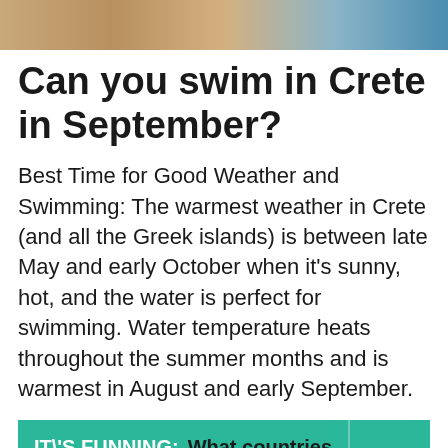[Figure (photo): Aerial/satellite view of landscape with earth tones and blue water feature]
Can you swim in Crete in September?
Best Time for Good Weather and Swimming: The warmest weather in Crete (and all the Greek islands) is between late May and early October when it's sunny, hot, and the water is perfect for swimming. Water temperature heats throughout the summer months and is warmest in August and early September.
IT\'S FUNNING:  What countries are Greek Catholic?
Where is best in Greece in